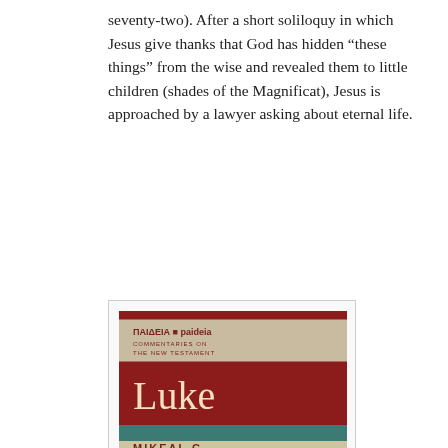seventy-two). After a short soliloquy in which Jesus give thanks that God has hidden “these things” from the wise and revealed them to little children (shades of the Magnificat), Jesus is approached by a lawyer asking about eternal life.
[Figure (photo): Book cover of 'Luke' from the Paideia Commentaries on the New Testament series. The cover features a dark red background with a beige title band showing 'PAIDEIA paideia / Commentaries on the New Testament', a large red section with the title 'Luke' in cream serif font, a teal horizontal band, and a bottom section with parchment-colored background partially showing the author name 'MIKEAL C.']